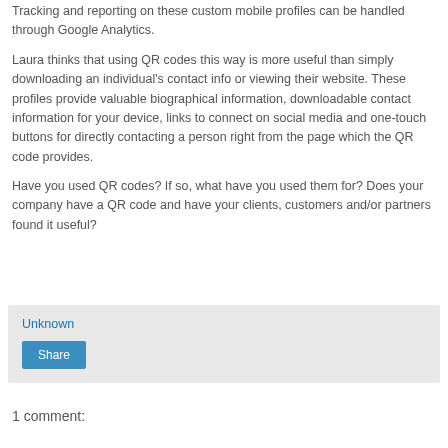Tracking and reporting on these custom mobile profiles can be handled through Google Analytics.
Laura thinks that using QR codes this way is more useful than simply downloading an individual's contact info or viewing their website. These profiles provide valuable biographical information, downloadable contact information for your device, links to connect on social media and one-touch buttons for directly contacting a person right from the page which the QR code provides.
Have you used QR codes? If so, what have you used them for? Does your company have a QR code and have your clients, customers and/or partners found it useful?
Unknown
Share
1 comment: